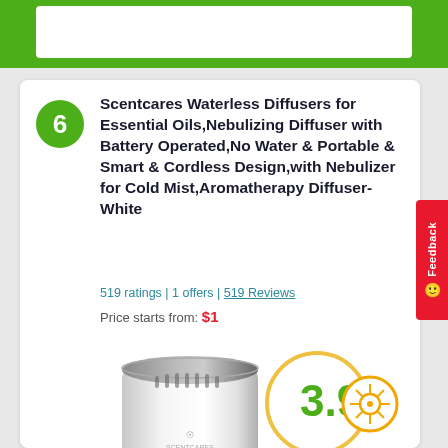Scentcares Waterless Diffusers for Essential Oils,Nebulizing Diffuser with Battery Operated,No Water & Portable & Smart & Cordless Design,with Nebulizer for Cold Mist,Aromatherapy Diffuser-White
519 ratings | 1 offers | 519 Reviews
Price starts from: $1
[Figure (infographic): Score badge showing 3.9/5 rating in a circular border with golden/orange color]
[Figure (photo): White cylindrical Scentcares nebulizing diffuser product photo]